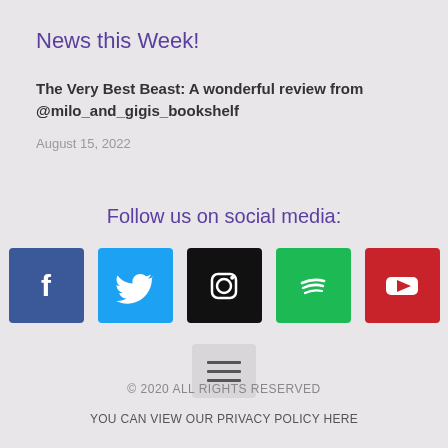News this Week!
The Very Best Beast: A wonderful review from @milo_and_gigis_bookshelf
August 15, 2022
Follow us on social media:
[Figure (infographic): Row of five social media icon buttons: Facebook (blue), Twitter (light blue), Instagram (black), Spotify (green), YouTube (red), plus a menu/hamburger icon button below]
© 2020 ALL RIGHTS RESERVED
YOU CAN VIEW OUR PRIVACY POLICY HERE